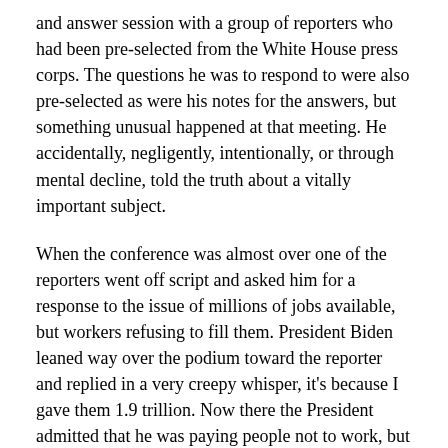and answer session with a group of reporters who had been pre-selected from the White House press corps. The questions he was to respond to were also pre-selected as were his notes for the answers, but something unusual happened at that meeting. He accidentally, negligently, intentionally, or through mental decline, told the truth about a vitally important subject.
When the conference was almost over one of the reporters went off script and asked him for a response to the issue of millions of jobs available, but workers refusing to fill them. President Biden leaned way over the podium toward the reporter and replied in a very creepy whisper, it's because I gave them 1.9 trillion. Now there the President admitted that he was paying people not to work, but then it got worse. Continuing his whisper, he told the reporters that he gave them the money so employers would have to pay more for labor.